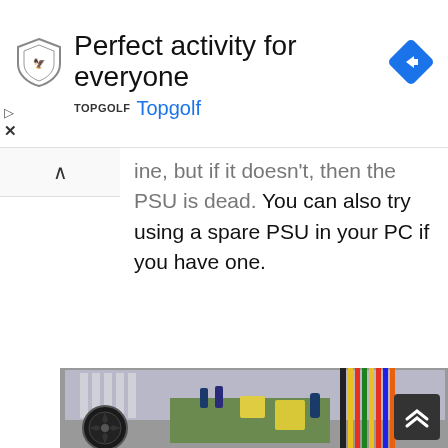[Figure (screenshot): Advertisement banner for Topgolf: shield logo on left, large text 'Perfect activity for everyone', blue navigation arrow icon on right, 'TOPGOLF Topgolf' branding below with play and close controls on left side]
ine, but if it doesn't, then the PSU is dead. You can also try using a spare PSU in your PC if you have one.
[Figure (photo): Photograph of an open computer power supply unit (PSU) showing internal components including heat sinks, circuit board, capacitors, fan, and multicolored wiring harness]